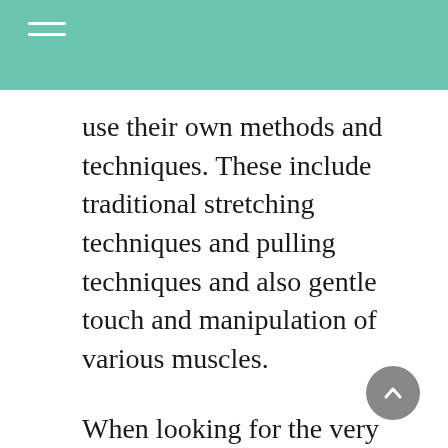use their own methods and techniques. These include traditional stretching techniques and pulling techniques and also gentle touch and manipulation of various muscles.
When looking for the very best specialist details about Best Zeel Massage New York New York – – you will discover lots of pointers as well as useful details below.
You are possibly searching for even more information and beneficial information